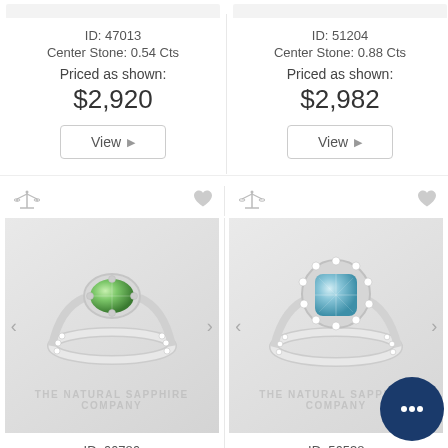ID: 47013
Center Stone: 0.54 Cts
Priced as shown:
$2,920
[Figure (screenshot): View button for ring ID 47013]
ID: 51204
Center Stone: 0.88 Cts
Priced as shown:
$2,982
[Figure (screenshot): View button for ring ID 51204]
[Figure (photo): Ring with green gemstone center stone, white gold band with diamonds, ID 66786]
ID: 66786
Center Stone: 1.07 Cts
Priced as shown:
[Figure (photo): Ring with blue/aqua cushion-cut center stone in diamond halo setting, ID 56538]
ID: 56538
Center Stone: 0.8...
Priced as shown: